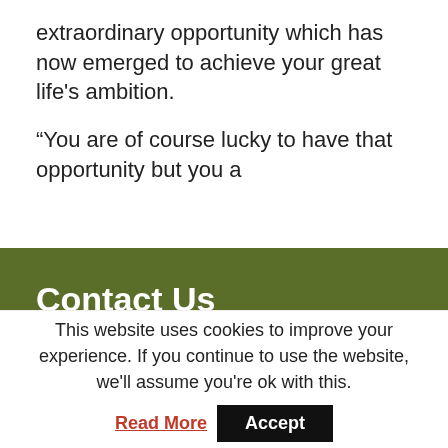extraordinary opportunity which has now emerged to achieve your great life's ambition.
“You are of course lucky to have that opportunity but you a
Contact Us
BATTLESPACE Publications
Old Charlock
Abthorpe Road
This website uses cookies to improve your experience. If you continue to use the website, we'll assume you're ok with this.
Read More
Accept